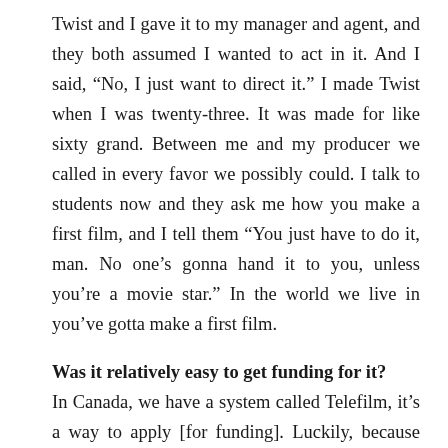Twist and I gave it to my manager and agent, and they both assumed I wanted to act in it. And I said, “No, I just want to direct it.” I made Twist when I was twenty-three. It was made for like sixty grand. Between me and my producer we called in every favor we possibly could. I talk to students now and they ask me how you make a first film, and I tell them “You just have to do it, man. No one’s gonna hand it to you, unless you’re a movie star.” In the world we live in you’ve gotta make a first film.
Was it relatively easy to get funding for it?
In Canada, we have a system called Telefilm, it’s a way to apply [for funding]. Luckily, because Twist did OK, it made me somebody that was encouraged